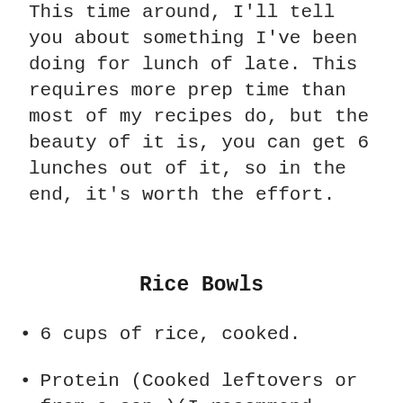This time around, I'll tell you about something I've been doing for lunch of late. This requires more prep time than most of my recipes do, but the beauty of it is, you can get 6 lunches out of it, so in the end, it's worth the effort.
Rice Bowls
6 cups of rice, cooked.
Protein (Cooked leftovers or from a can.)(I recommend